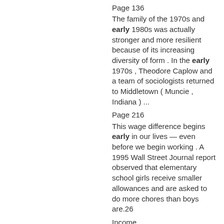Page 136
The family of the 1970s and early 1980s was actually stronger and more resilient because of its increasing diversity of form . In the early 1970s , Theodore Caplow and a team of sociologists returned to Middletown ( Muncie , Indiana ) ...
Page 216
This wage difference begins early in our lives — even before we begin working . A 1995 Wall Street Journal report observed that elementary school girls receive smaller allowances and are asked to do more chores than boys are.26
Income